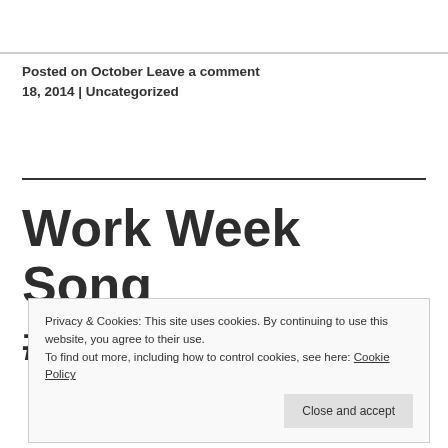Posted on October 18, 2014 | Uncategorized  Leave a comment
Work Week Song #42: Mo...
Privacy & Cookies: This site uses cookies. By continuing to use this website, you agree to their use. To find out more, including how to control cookies, see here: Cookie Policy
Close and accept